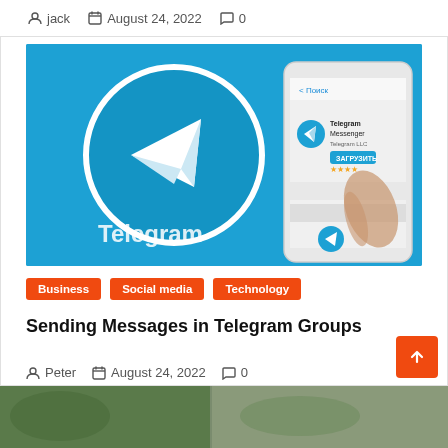jack   August 24, 2022   0
[Figure (photo): Telegram app logo on blue background with a hand holding a smartphone showing Telegram in an app store]
Business   Social media   Technology
Sending Messages in Telegram Groups
Peter   August 24, 2022   0
[Figure (photo): Bottom strip showing peek of next article image]